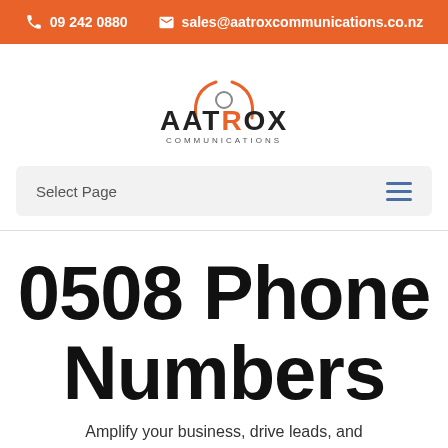09 242 0880   sales@aatroxcommunications.co.nz
[Figure (logo): Aatrox Communications logo with orange curved lines above the text AATROX COMMUNICATIONS]
Select Page
0508 Phone Numbers
Amplify your business, drive leads, and